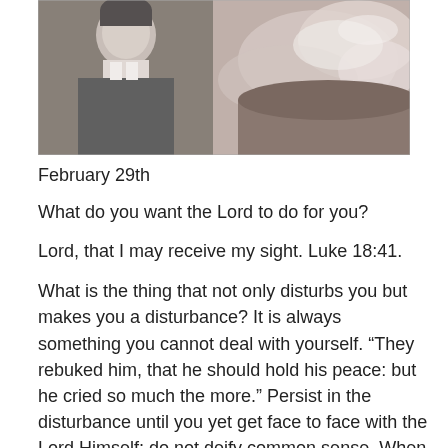[Figure (photo): Black and white composite photo showing a portrait of a man in a suit on the left and a dramatic ocean wave crashing against rocks on the right]
February 29th
What do you want the Lord to do for you?
Lord, that I may receive my sight. Luke 18:41.
What is the thing that not only disturbs you but makes you a disturbance? It is always something you cannot deal with yourself. “They rebuked him, that he should hold his peace: but he cried so much the more.” Persist in the disturbance until you yet get face to face with the Lord Himself; do not deify common sense. When Jesus asks us what we want Him to do for us in regard to the